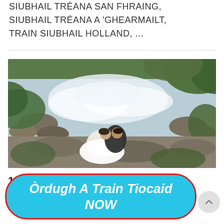SIUBHAIL TRÉANA SAN FHRAING, SIUBHAIL TRÉANA A 'GHEARMAILT, TRAIN SIUBHAIL HOLLAND, ...
[Figure (photo): Couple kissing beside a rushing waterfall/river with rocks and green vegetation. The woman is wearing a white wedding dress.]
10 Cinn-uidhe pòsaidh
Òrdugh A Train Tiocaid NOW